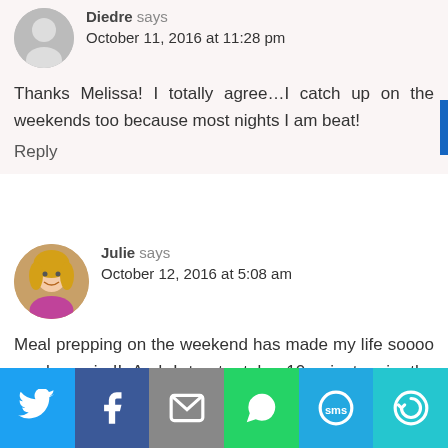Diedre says
October 11, 2016 at 11:28 pm
Thanks Melissa! I totally agree...I catch up on the weekends too because most nights I am beat!
Reply
Julie says
October 12, 2016 at 5:08 am
Meal prepping on the weekend has made my life soooo much easier!! And I try to take 10 minutes in the evening to prepare for the next day...makes the morning smoother!
[Figure (infographic): Social share bar with Twitter, Facebook, Email, WhatsApp, SMS, and More buttons]